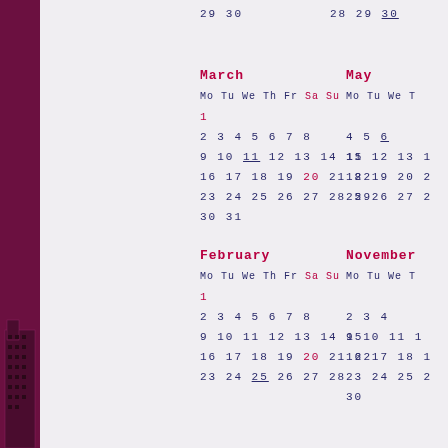[Figure (illustration): Maroon/purple vertical sidebar on the left with a building/architectural illustration at the bottom]
29 30
28 29 30
March
May
Mo Tu We Th Fr Sa Su
Mo Tu We Th
1
2 3 4 5 6 7 8
9 10 11 12 13 14 15
16 17 18 19 20 21 22
23 24 25 26 27 28 29
30 31
4 5 6
11 12 13 1
18 19 20 2
25 26 27 2
February
November
Mo Tu We Th Fr Sa Su
Mo Tu We Th
1
2 3 4 5 6 7 8
9 10 11 12 13 14 15
16 17 18 19 20 21 22
23 24 25 26 27 28
2 3 4
9 10 11 1
16 17 18 1
23 24 25 2